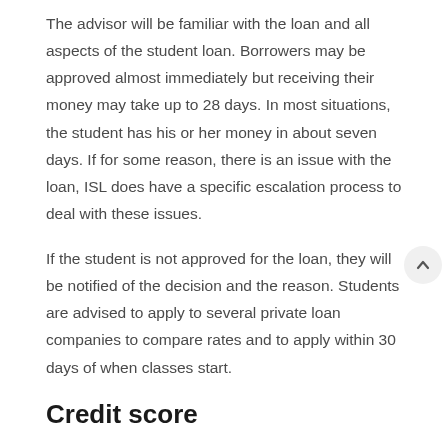The advisor will be familiar with the loan and all aspects of the student loan. Borrowers may be approved almost immediately but receiving their money may take up to 28 days. In most situations, the student has his or her money in about seven days. If for some reason, there is an issue with the loan, ISL does have a specific escalation process to deal with these issues.
If the student is not approved for the loan, they will be notified of the decision and the reason. Students are advised to apply to several private loan companies to compare rates and to apply within 30 days of when classes start.
Credit score